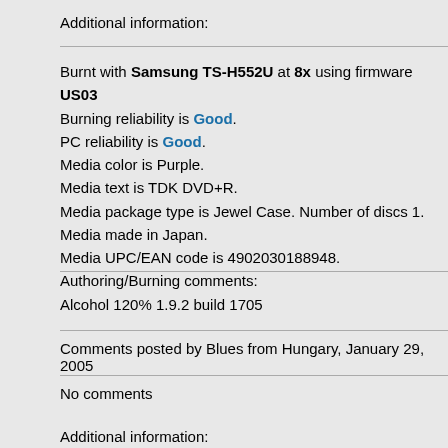Additional information:
Burnt with Samsung TS-H552U at 8x using firmware US03 Burning reliability is Good. PC reliability is Good. Media color is Purple. Media text is TDK DVD+R. Media package type is Jewel Case. Number of discs 1. Media made in Japan. Media UPC/EAN code is 4902030188948. Authoring/Burning comments: Alcohol 120% 1.9.2 build 1705
Comments posted by Blues from Hungary, January 29, 2005
No comments
Additional information: